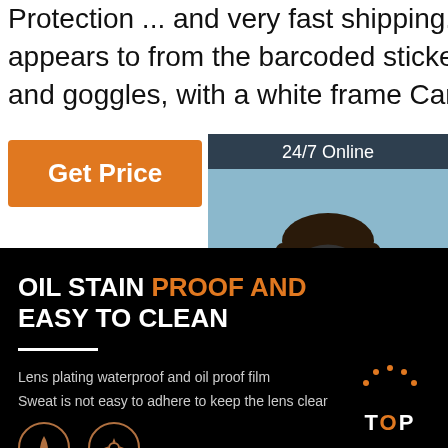Protection ... and very fast shipping. The mix up appears to from the barcoded sticker. It is a Mojo box and goggles, with a white frame Carve barcode ...
Get Price
[Figure (photo): Customer service representative with headset, smiling, with '24/7 Online' header bar, 'Click here for free chat!' text, and orange QUOTATION button]
OIL STAIN PROOF AND EASY TO CLEAN
Lens plating waterproof and oil proof film
Sweat is not easy to adhere to keep the lens clear
[Figure (illustration): TOP badge/logo with orange dotted arc and TOP text in orange and white]
[Figure (illustration): Two circular icons with orange border: water drop icon and gear/settings icon]